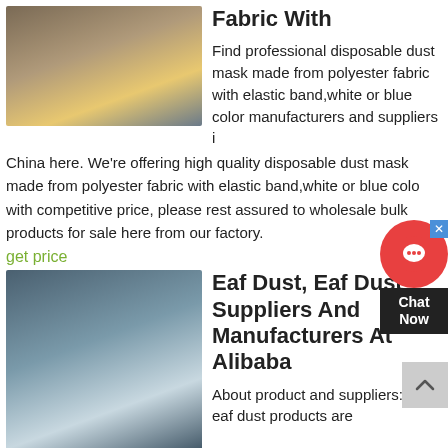[Figure (photo): Mining/quarry equipment with conveyor belts and machinery outdoors]
Fabric With
Find professional disposable dust mask made from polyester fabric with elastic band,white or blue color manufacturers and suppliers in China here. We're offering high quality disposable dust mask made from polyester fabric with elastic band,white or blue color with competitive price, please rest assured to wholesale bulk products for sale here from our factory.
get price
[Figure (photo): Industrial dust collection/grinding mill equipment outdoors in winter]
Eaf Dust, Eaf Dust Suppliers And Manufacturers At Alibaba
About product and suppliers: 678 eaf dust products are